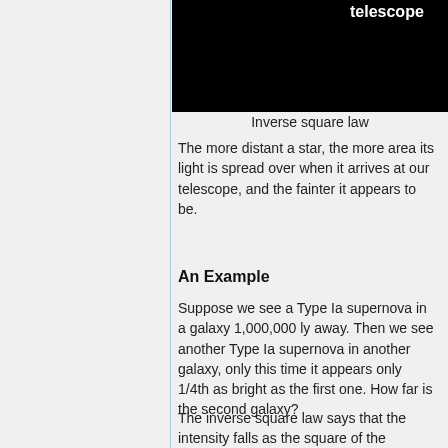[Figure (photo): Dark image showing a telescope observation scene with white bold text 'telescope' visible at top]
Inverse square law
The more distant a star, the more area its light is spread over when it arrives at our telescope, and the fainter it appears to be.
An Example
Suppose we see a Type Ia supernova in a galaxy 1,000,000 ly away. Then we see another Type Ia supernova in another galaxy, only this time it appears only 1/4th as bright as the first one. How far is the second galaxy?
The inverse square law says that the intensity falls as the square of the